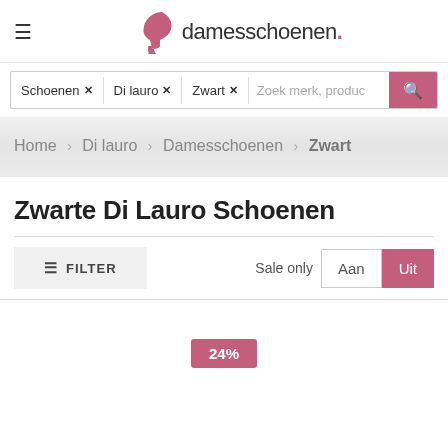damesschoenen.
Schoenen × Di lauro × Zwart × Zoek merk, produc
Home > Di lauro > Damesschoenen > Zwart
Zwarte Di Lauro Schoenen
≡ FILTER  Sale only  Aan  Uit
[Figure (other): 24% badge discount label]